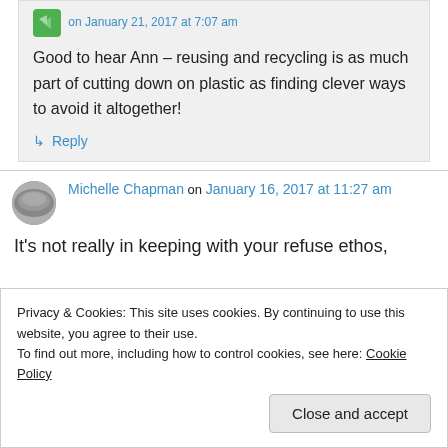on January 21, 2017 at 7:07 am
Good to hear Ann – reusing and recycling is as much part of cutting down on plastic as finding clever ways to avoid it altogether!
↳ Reply
Michelle Chapman on January 16, 2017 at 11:27 am
It's not really in keeping with your refuse ethos,
Privacy & Cookies: This site uses cookies. By continuing to use this website, you agree to their use. To find out more, including how to control cookies, see here: Cookie Policy
Close and accept